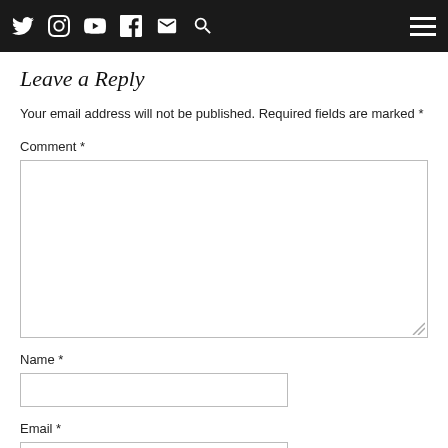Navigation bar with social icons (Twitter, Instagram, YouTube, Facebook, Email, Search) and hamburger menu
Leave a Reply
Your email address will not be published. Required fields are marked *
Comment *
[Figure (other): Comment textarea input box]
Name *
[Figure (other): Name text input field]
Email *
[Figure (other): Email text input field]